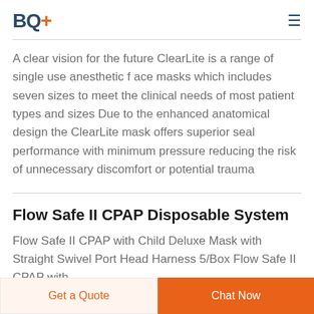BQ+
A clear vision for the future ClearLite is a range of single use anesthetic f ace masks which includes seven sizes to meet the clinical needs of most patient types and sizes Due to the enhanced anatomical design the ClearLite mask offers superior seal performance with minimum pressure reducing the risk of unnecessary discomfort or potential trauma
Flow Safe II CPAP Disposable System
Flow Safe II CPAP with Child Deluxe Mask with Straight Swivel Port Head Harness 5/Box Flow Safe II CPAP with
Get a Quote   Chat Now